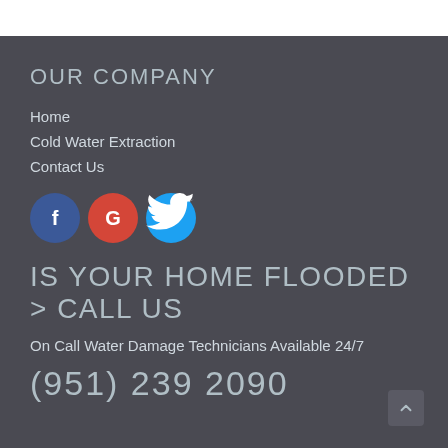OUR COMPANY
Home
Cold Water Extraction
Contact Us
[Figure (infographic): Social media icons: Facebook (blue circle with F), Google (red circle with G), Twitter (light blue circle with bird)]
IS YOUR HOME FLOODED > CALL US
On Call Water Damage Technicians Available 24/7
(951) 239 2090